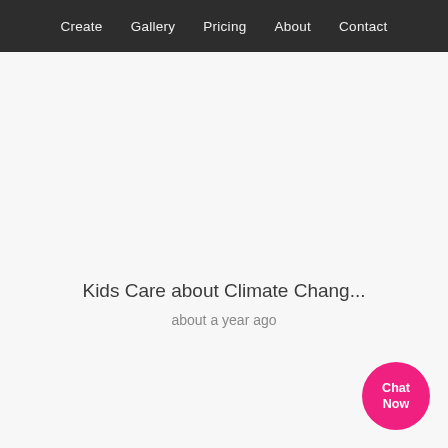Create  Gallery  Pricing  About  Contact
Kids Care about Climate Chang...
about a year ago
[Figure (other): Pink circular chat button with text 'Chat Now']